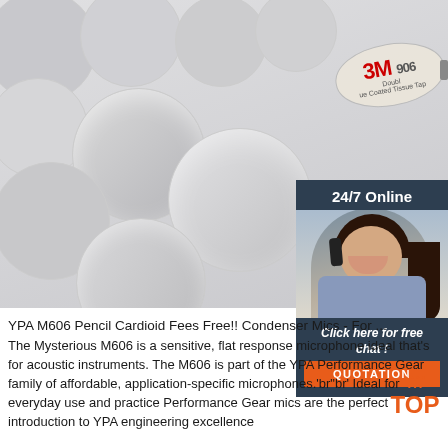[Figure (photo): Product photo showing multiple white circular adhesive foam pads (3M 906 Double Coated Tissue Tape) scattered on a white surface. A 3M branded label is visible on one pad.]
[Figure (photo): Customer service chat widget showing a woman with a headset, with header '24/7 Online', text 'Click here for free chat!', and an orange QUOTATION button.]
YPA M606 Pencil Cardioid Fees Free!! Condenser Mics - For ...
The Mysterious M606 is a sensitive, flat response microphone ideal that's for acoustic instruments. The M606 is part of the YPA Performance Gear family of affordable, application-specific microphones.'br"br' Ideal for everyday use and practice Performance Gear mics are the perfect introduction to YPA engineering excellence